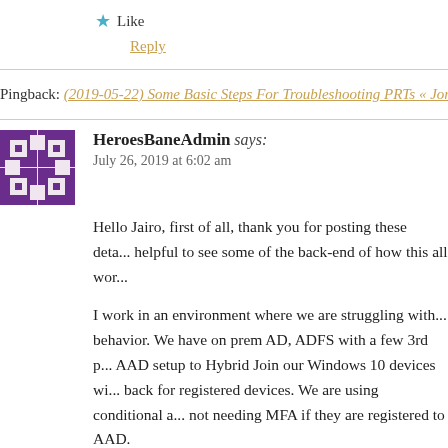Like
Reply
Pingback: (2019-05-22) Some Basic Steps For Troubleshooting PRTs « Jorge's...
HeroesBaneAdmin says: July 26, 2019 at 6:02 am
Hello Jairo, first of all, thank you for posting these deta... helpful to see some of the back-end of how this all wor...
I work in an environment where we are struggling with... behavior. We have on prem AD, ADFS with a few 3rd p... AAD setup to Hybrid Join our Windows 10 devices wi... back for registered devices. We are using conditional a... not needing MFA if they are registered to AAD.